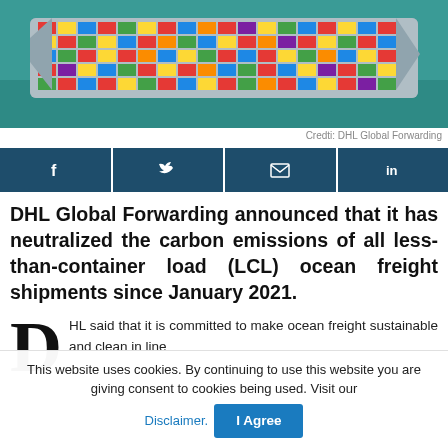[Figure (photo): Aerial view of a large container ship loaded with colorful shipping containers on teal ocean water]
Credti: DHL Global Forwarding
[Figure (infographic): Social sharing buttons: Facebook, Twitter, Email, LinkedIn on dark teal background]
DHL Global Forwarding announced that it has neutralized the carbon emissions of all less-than-container load (LCL) ocean freight shipments since January 2021.
HL said that it is committed to make ocean freight sustainable and clean in line
This website uses cookies. By continuing to use this website you are giving consent to cookies being used. Visit our Disclaimer. I Agree